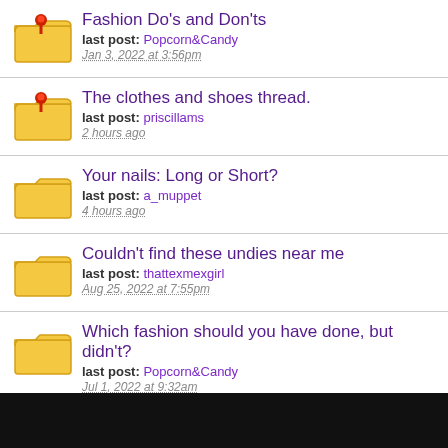Fashion Do's and Don'ts
last post: Popcorn&Candy
Jan 3, 2022 at 3:56pm
The clothes and shoes thread.
last post: priscillams
2 hours ago
Your nails: Long or Short?
last post: a_muppet
4 hours ago
Couldn't find these undies near me
last post: thattexmexgirl
Aug 25, 2022 at 7:55pm
Which fashion should you have done, but didn't?
last post: Popcorn&Candy
Jul 1, 2022 at 9:32am
Monsoon Footcare Routine
last post: Popcorn&Candy
Jul 1, 2022 at 9:30am
Heels - How Often?